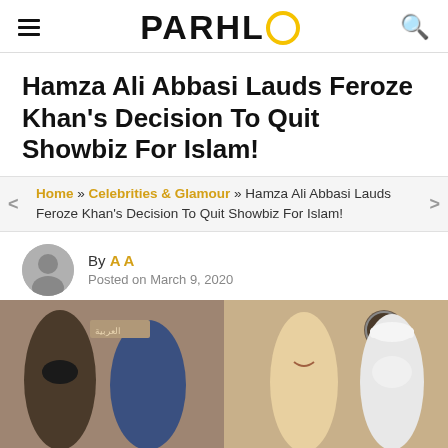PARHLO
Hamza Ali Abbasi Lauds Feroze Khan's Decision To Quit Showbiz For Islam!
Home » Celebrities & Glamour » Hamza Ali Abbasi Lauds Feroze Khan's Decision To Quit Showbiz For Islam!
By A A
Posted on March 9, 2020
[Figure (photo): Two side-by-side photos: left shows two men (one bald with beard, one with lighter complexion) in a casual setting; right shows a young man smiling next to an older man with a white beard and white cap.]